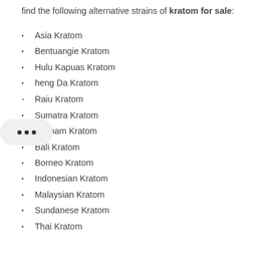find the following alternative strains of kratom for sale:
Asia Kratom
Bentuangie Kratom
Hulu Kapuas Kratom
heng Da Kratom
Raiu Kratom
Sumatra Kratom
Vietnam Kratom
Bali Kratom
Borneo Kratom
Indonesian Kratom
Malaysian Kratom
Sundanese Kratom
Thai Kratom